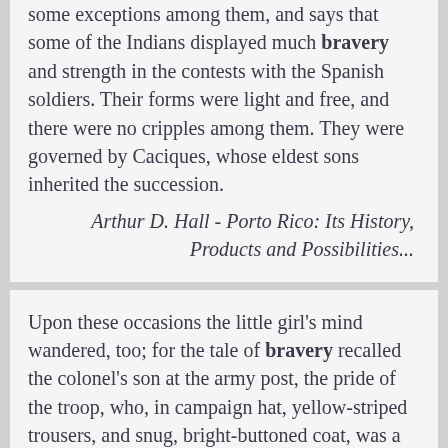some exceptions among them, and says that some of the Indians displayed much bravery and strength in the contests with the Spanish soldiers. Their forms were light and free, and there were no cripples among them. They were governed by Caciques, whose eldest sons inherited the succession.
Arthur D. Hall - Porto Rico: Its History, Products and Possibilities...
Upon these occasions the little girl's mind wandered, too; for the tale of bravery recalled the colonel's son at the army post, the pride of the troop, who, in campaign hat, yellow-striped trousers, and snug, bright-buttoned coat, was a sturdy military